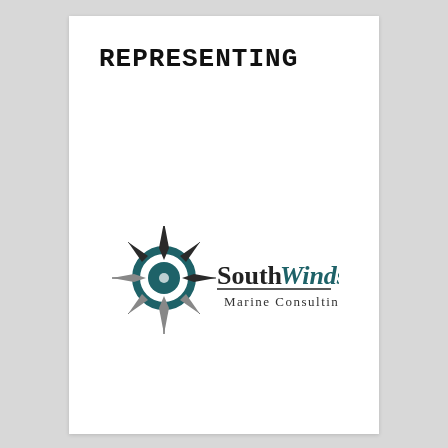REPRESENTING
[Figure (logo): SouthWinds Marine Consulting company logo featuring a compass rose icon in dark teal/navy and the company name in serif and italic typeface]